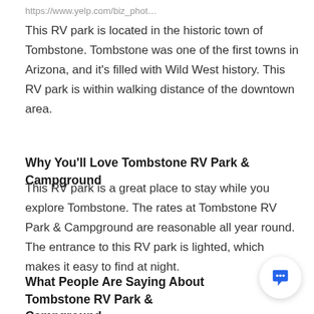https://www.yelp.com/biz_phot…
This RV park is located in the historic town of Tombstone. Tombstone was one of the first towns in Arizona, and it's filled with Wild West history. This RV park is within walking distance of the downtown area.
Why You'll Love Tombstone RV Park & Campground
This RV park is a great place to stay while you explore Tombstone. The rates at Tombstone RV Park &amp; Campground are reasonable all year round. The entrance to this RV park is lighted, which makes it easy to find at night.
What People Are Saying About Tombstone RV Park & Campground